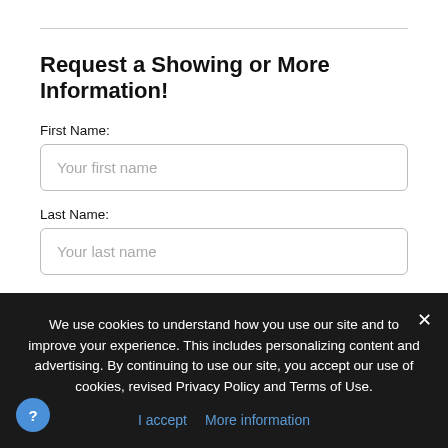Request a Showing or More Information!
First Name:
Your first name
Last Name:
Your last name
Phone Number:
250-123-3456
We use cookies to understand how you use our site and to improve your experience. This includes personalizing content and advertising. By continuing to use our site, you accept our use of cookies, revised Privacy Policy and Terms of Use.
I accept  More information